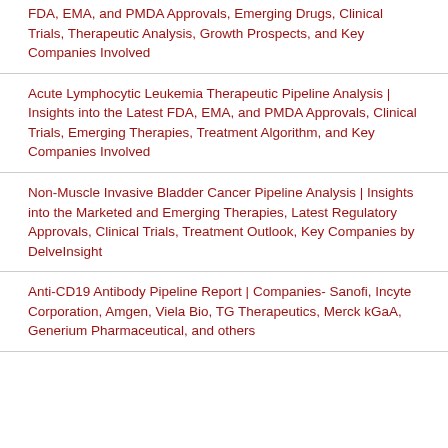FDA, EMA, and PMDA Approvals, Emerging Drugs, Clinical Trials, Therapeutic Analysis, Growth Prospects, and Key Companies Involved
Acute Lymphocytic Leukemia Therapeutic Pipeline Analysis | Insights into the Latest FDA, EMA, and PMDA Approvals, Clinical Trials, Emerging Therapies, Treatment Algorithm, and Key Companies Involved
Non-Muscle Invasive Bladder Cancer Pipeline Analysis | Insights into the Marketed and Emerging Therapies, Latest Regulatory Approvals, Clinical Trials, Treatment Outlook, Key Companies by DelveInsight
Anti-CD19 Antibody Pipeline Report | Companies- Sanofi, Incyte Corporation, Amgen, Viela Bio, TG Therapeutics, Merck kGaA, Generium Pharmaceutical, and others